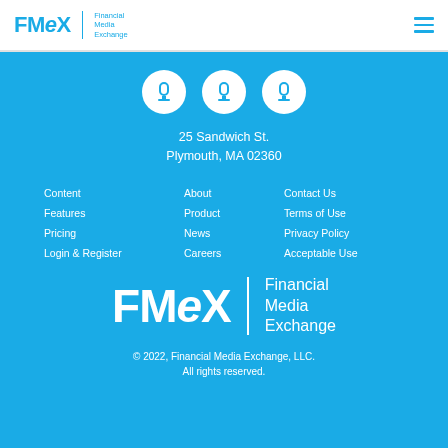FMeX | Financial Media Exchange
[Figure (logo): Three white circle social media icon buttons on blue background]
25 Sandwich St.
Plymouth, MA 02360
Content
Features
Pricing
Login & Register
About
Product
News
Careers
Contact Us
Terms of Use
Privacy Policy
Acceptable Use
[Figure (logo): FMeX Financial Media Exchange white logo on blue background]
© 2022, Financial Media Exchange, LLC.
All rights reserved.